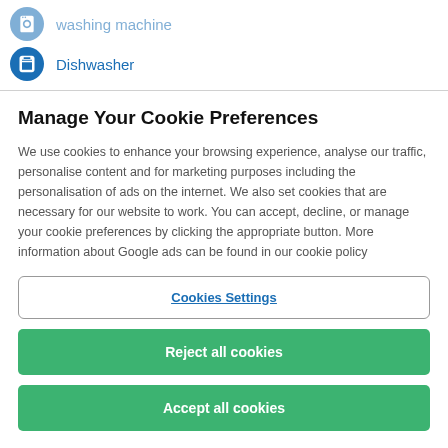washing machine
Dishwasher
Manage Your Cookie Preferences
We use cookies to enhance your browsing experience, analyse our traffic, personalise content and for marketing purposes including the personalisation of ads on the internet. We also set cookies that are necessary for our website to work. You can accept, decline, or manage your cookie preferences by clicking the appropriate button. More information about Google ads can be found in our cookie policy
Cookies Settings
Reject all cookies
Accept all cookies